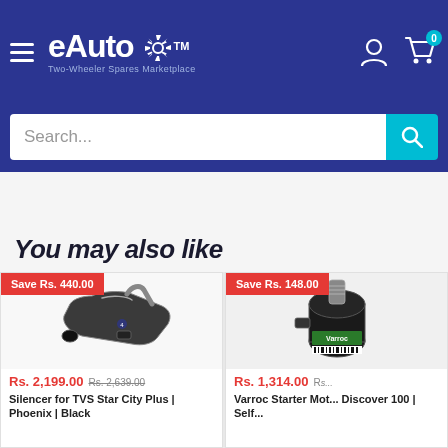eAuto - Two-Wheeler Spares Marketplace
Search...
You may also like
[Figure (photo): Motorcycle silencer/exhaust pipe in black chrome for TVS Star City Plus / Phoenix]
Save Rs. 440.00
Rs. 2,199.00  Rs. 2,639.00
Silencer for TVS Star City Plus | Phoenix | Black
[Figure (photo): Varroc Starter Motor for Bajaj Discover 100, partially visible, black cylindrical component with green label]
Save Rs. 148.00
Rs. 1,314.00  Rs...
Varroc Starter Motor | Discover 100 | Self...